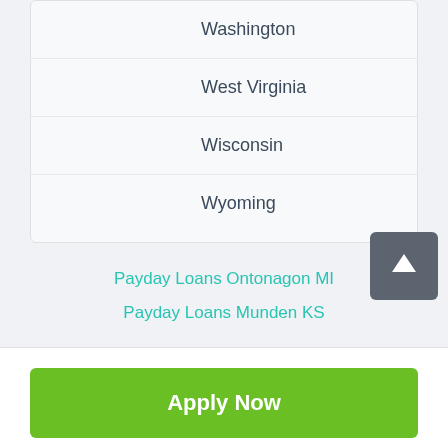Washington
West Virginia
Wisconsin
Wyoming
Payday Loans Ontonagon MI
Payday Loans Munden KS
Apply Now
Applying does NOT affect your credit score! No credit check to apply.